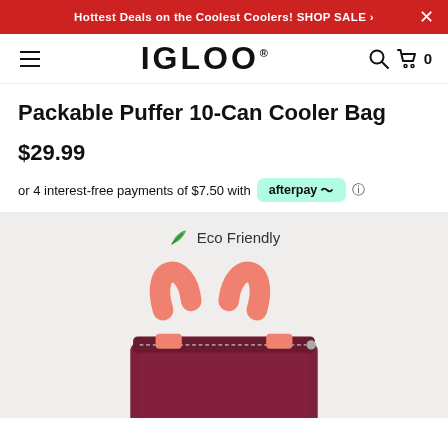Hottest Deals on the Coolest Coolers! SHOP SALE ›
[Figure (logo): IGLOO brand logo with hamburger menu, search, and cart icons in navigation bar]
Packable Puffer 10-Can Cooler Bag
$29.99
or 4 interest-free payments of $7.50 with afterpay
[Figure (photo): Packable Puffer 10-Can Cooler Bag in dark red/burgundy with coral/salmon colored handles, shown on light gray background with Eco Friendly label]